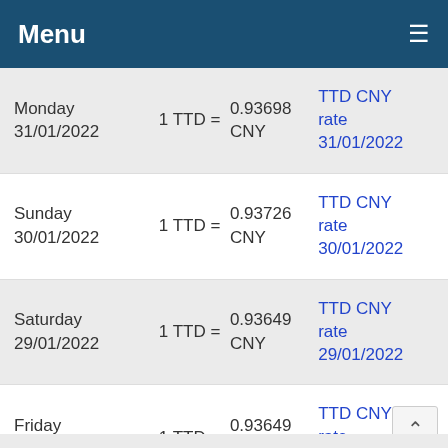Menu
| Date | Rate | Value | Link |
| --- | --- | --- | --- |
| Monday 31/01/2022 | 1 TTD = | 0.93698 CNY | TTD CNY rate 31/01/2022 |
| Sunday 30/01/2022 | 1 TTD = | 0.93726 CNY | TTD CNY rate 30/01/2022 |
| Saturday 29/01/2022 | 1 TTD = | 0.93649 CNY | TTD CNY rate 29/01/2022 |
| Friday 28/01/2022 | 1 TTD = | 0.93649 CNY | TTD CNY rate 28/01/2022 |